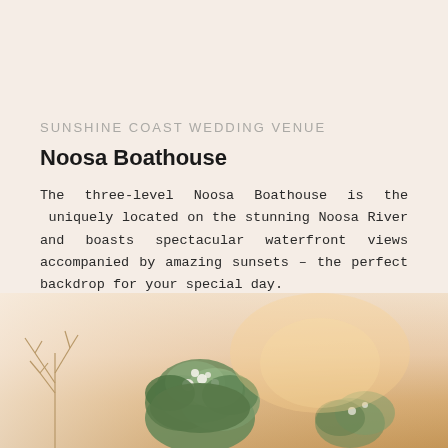SUNSHINE COAST WEDDING VENUE
Noosa Boathouse
The three-level Noosa Boathouse is the  uniquely located on the stunning Noosa River and boasts spectacular waterfront views accompanied by amazing sunsets – the perfect backdrop for your special day.
[Figure (photo): Wedding venue photo showing floral arrangements with greenery against a warm sunset-toned background]